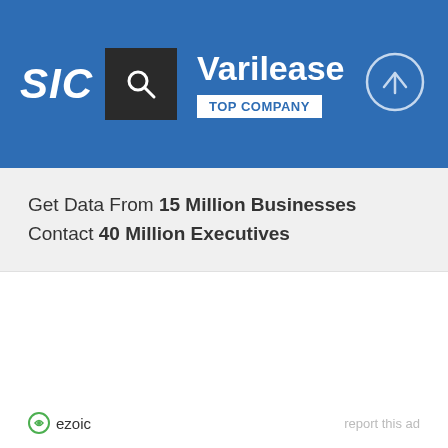SIC | Varilease | TOP COMPANY
Get Data From 15 Million Businesses
Contact 40 Million Executives
ezoic | report this ad